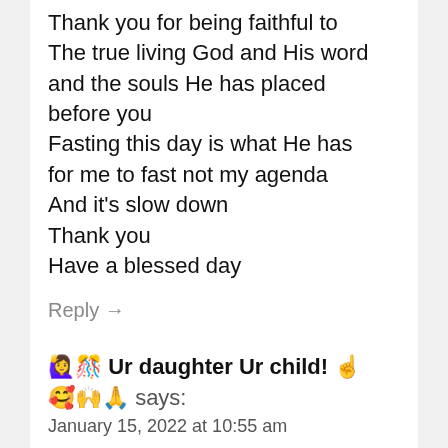Thank you for being faithful to The true living God and His word and the souls He has placed before you Fasting this day is what He has for me to fast not my agenda And it's slow down Thank you Have a blessed day
Reply →
🙋‍♀️🎊 Ur daughter Ur child! ☝️ 🥰🙌🙏 says:
January 15, 2022 at 10:55 am